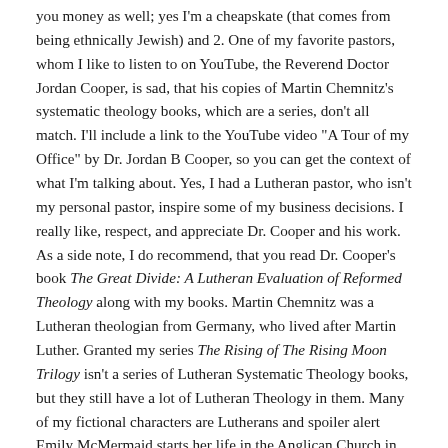you money as well; yes I'm a cheapskate (that comes from being ethnically Jewish) and 2. One of my favorite pastors, whom I like to listen to on YouTube, the Reverend Doctor Jordan Cooper, is sad, that his copies of Martin Chemnitz's systematic theology books, which are a series, don't all match. I'll include a link to the YouTube video "A Tour of my Office" by Dr. Jordan B Cooper, so you can get the context of what I'm talking about. Yes, I had a Lutheran pastor, who isn't my personal pastor, inspire some of my business decisions. I really like, respect, and appreciate Dr. Cooper and his work. As a side note, I do recommend, that you read Dr. Cooper's book The Great Divide: A Lutheran Evaluation of Reformed Theology along with my books. Martin Chemnitz was a Lutheran theologian from Germany, who lived after Martin Luther. Granted my series The Rising of The Rising Moon Trilogy isn't a series of Lutheran Systematic Theology books, but they still have a lot of Lutheran Theology in them. Many of my fictional characters are Lutherans and spoiler alert Emily McMermaid starts her life in the Anglican Church in Ireland and she eventually converts to